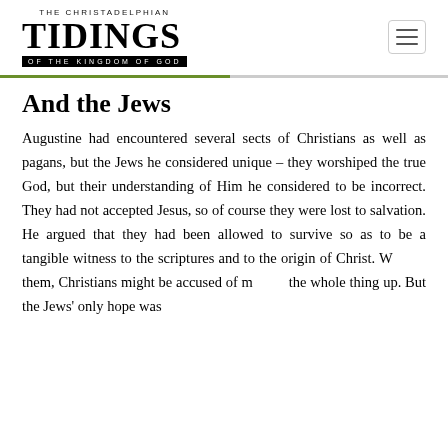THE CHRISTADELPHIAN TIDINGS OF THE KINGDOM OF GOD
And the Jews
Augustine had encountered several sects of Christians as well as pagans, but the Jews he considered unique – they worshiped the true God, but their understanding of Him he considered to be incorrect. They had not accepted Jesus, so of course they were lost to salvation. He argued that they had been allowed to survive so as to be a tangible witness to the scriptures and to the origin of Christ. Without them, Christians might be accused of making the whole thing up. But the Jews' only hope was